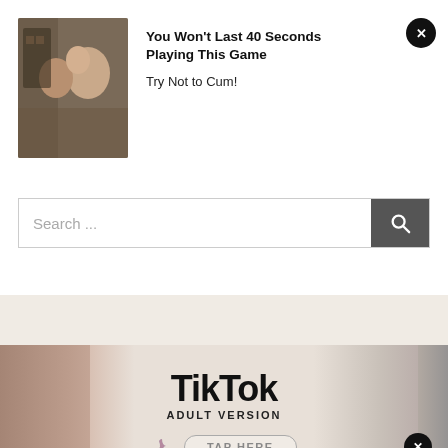[Figure (screenshot): Advertisement banner: thumbnail image on left showing two people, bold headline text and close button on right. Headline: 'You Won't Last 40 Seconds Playing This Game', subtitle: 'Try Not to Cum!']
[Figure (screenshot): Search bar with placeholder text 'Search ...' and dark search icon button on the right]
[Figure (screenshot): TikTok Adult Version advertisement banner with TikTok logo, 'ADULT VERSION' text, TikTok icon, 'TAP HERE' button, close X button, and adult imagery on sides]